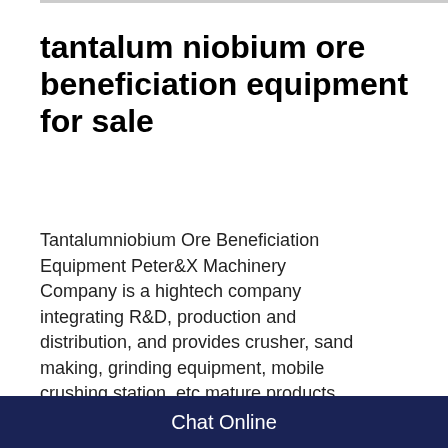tantalum niobium ore beneficiation equipment for sale
Tantalumniobium Ore Beneficiation Equipment Peter&X Machinery Company is a hightech company integrating R&D, production and distribution, and provides crusher, sand making, grinding equipment, mobile crushing station, etc mature products and solutions used in aggregate, mining and waste recycling Tantalum Niobium Ore For Sale InUsed Tantalum Processing Equipment For Sale, Used tantalum processing equipment for saletantalum ore conveyor for sale china used tantalum processing equipment crusher machine for sale cr Tantalum Mining Equipment For
[Figure (other): Chat Now widget with red top section showing headset icon and dark bottom section with Chat Now text]
Chat Online